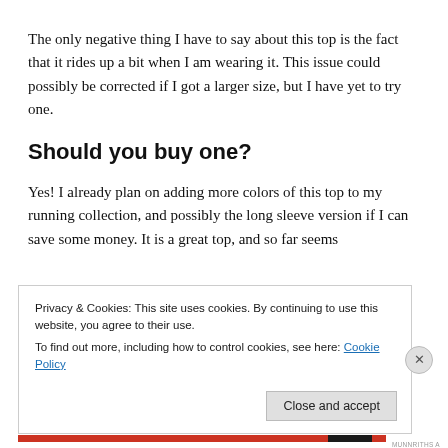The only negative thing I have to say about this top is the fact that it rides up a bit when I am wearing it. This issue could possibly be corrected if I got a larger size, but I have yet to try one.
Should you buy one?
Yes! I already plan on adding more colors of this top to my running collection, and possibly the long sleeve version if I can save some money. It is a great top, and so far seems
Privacy & Cookies: This site uses cookies. By continuing to use this website, you agree to their use.
To find out more, including how to control cookies, see here: Cookie Policy
Close and accept